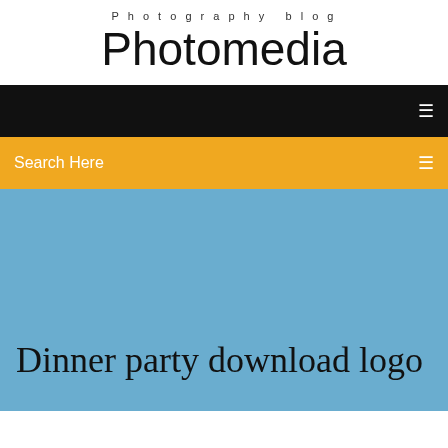Photography blog
Photomedia
Search Here
Dinner party download logo